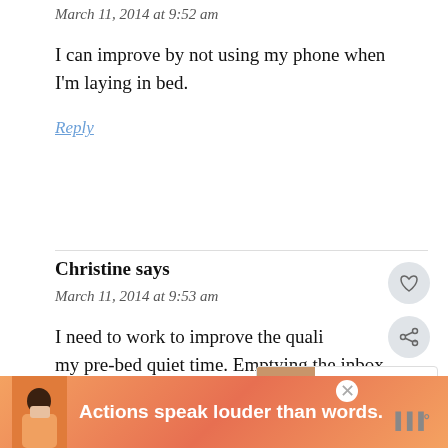March 11, 2014 at 9:52 am
I can improve by not using my phone when I'm laying in bed.
Reply
Christine says
March 11, 2014 at 9:53 am
I need to work to improve the quality of my pre-bed quiet time. Emptying the inbox a few hours before bed is a great idea!
[Figure (other): What's Next promotional widget showing Nectarine Dreams article thumbnail]
[Figure (other): Advertisement banner: Actions speak louder than words.]